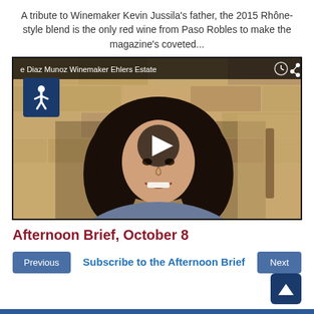A tribute to Winemaker Kevin Jussila's father, the 2015 Rhône-style blend is the only red wine from Paso Robles to make the magazine's coveted...
[Figure (screenshot): Video thumbnail showing a woman with long dark hair smiling, seated in front of a stone wall background. Overlay bar at top reads 'e Diaz Munoz Winemaker Ehlers Estate' with clock and share icons. A play button is centered on the video. An accessibility wheelchair icon appears in the upper left.]
Afternoon Brief, October 8
Subscribe to the Afternoon Brief